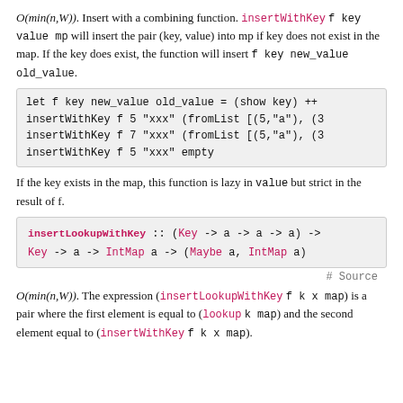O(min(n,W)). Insert with a combining function. insertWithKey f key value mp will insert the pair (key, value) into mp if key does not exist in the map. If the key does exist, the function will insert f key new_value old_value.
let f key new_value old_value = (show key) ++
insertWithKey f 5 "xxx" (fromList [(5,"a"), (3
insertWithKey f 7 "xxx" (fromList [(5,"a"), (3
insertWithKey f 5 "xxx" empty
If the key exists in the map, this function is lazy in value but strict in the result of f.
insertLookupWithKey :: (Key -> a -> a -> a) ->
Key -> a -> IntMap a -> (Maybe a, IntMap a)
# Source
O(min(n,W)). The expression (insertLookupWithKey f k x map) is a pair where the first element is equal to (lookup k map) and the second element equal to (insertWithKey f k x map).